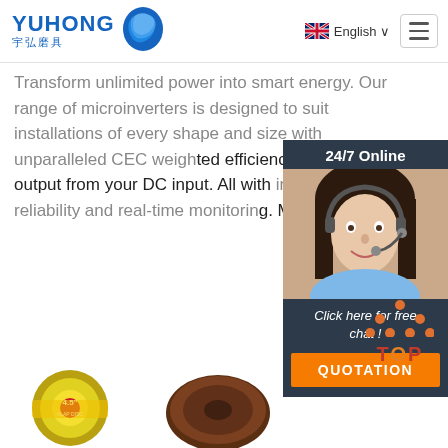[Figure (logo): Yuhong logo with blue wave icon and Chinese characters 宇弘磨具]
English
Transform unlimited power into smart energy. Our range of microinverters is designed to suit installations of every shape and size with unparalleled CEC weighted efficiency – more AC output from your DC input. All with simple installation, reliability and real-time monitoring. Microinverters.
[Figure (photo): Chat widget showing 24/7 Online label, a customer service woman with headset, Click here for free chat! text, and QUOTATION orange button]
Get Price
[Figure (logo): TOP navigation button with orange dot pattern]
[Figure (photo): Product image: 4.5 inch flap disc circular abrasive disc]
[Figure (photo): Product image: dark brown flap disc abrasive product]